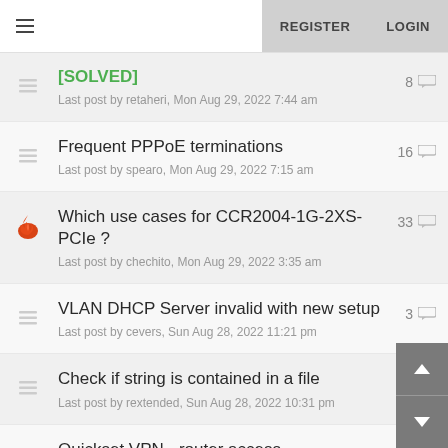REGISTER  LOGIN
[SOLVED]
Last post by retaheri, Mon Aug 29, 2022 7:44 am
8
Frequent PPPoE terminations
Last post by spearo, Mon Aug 29, 2022 7:15 am
16
Which use cases for CCR2004-1G-2XS-PCIe ?
Last post by chechito, Mon Aug 29, 2022 3:35 am
33
VLAN DHCP Server invalid with new setup
Last post by cevers, Sun Aug 28, 2022 11:21 pm
3
Check if string is contained in a file
Last post by rextended, Sun Aug 28, 2022 10:31 pm
1
Quickset VPN - router access
Last post by tmcnulty1982, Sun Aug 28, 2022 10:07 pm
2